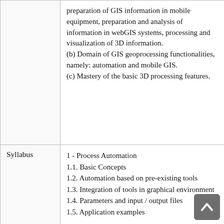preparation of GIS information in mobile equipment, preparation and analysis of information in webGIS systems, processing and visualization of 3D information. (b) Domain of GIS geoprocessing functionalities, namely: automation and mobile GIS. (c) Mastery of the basic 3D processing features.
Syllabus
1 - Process Automation
1.1. Basic Concepts
1.2. Automation based on pre-existing tools
1.3. Integration of tools in graphical environment
1.4. Parameters and input / output files
1.5. Application examples